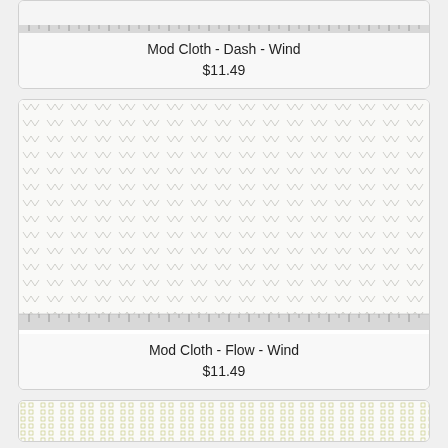[Figure (photo): Top portion of a product card showing fabric swatch for Mod Cloth - Dash - Wind with ruler/measurement marks along the bottom edge]
Mod Cloth - Dash - Wind
$11.49
[Figure (photo): Fabric swatch for Mod Cloth - Flow - Wind showing small arrow/chevron pattern on white fabric with ruler marks along the bottom]
Mod Cloth - Flow - Wind
$11.49
[Figure (photo): Partial view of a third product card showing fabric swatch with small dotted/square pattern in light yellow-green on white fabric]